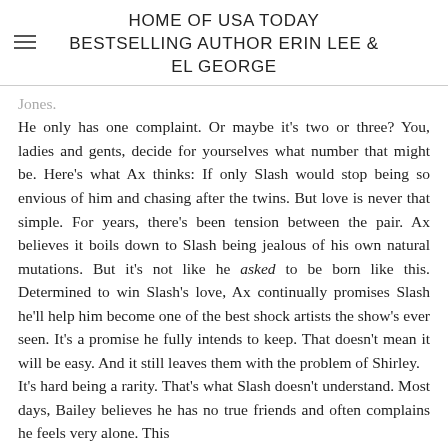HOME OF USA TODAY BESTSELLING AUTHOR ERIN LEE & EL GEORGE
Jones.
He only has one complaint. Or maybe it's two or three? You, ladies and gents, decide for yourselves what number that might be. Here's what Ax thinks: If only Slash would stop being so envious of him and chasing after the twins. But love is never that simple. For years, there's been tension between the pair. Ax believes it boils down to Slash being jealous of his own natural mutations. But it's not like he asked to be born like this. Determined to win Slash's love, Ax continually promises Slash he'll help him become one of the best shock artists the show's ever seen. It's a promise he fully intends to keep. That doesn't mean it will be easy. And it still leaves them with the problem of Shirley.
It's hard being a rarity. That's what Slash doesn't understand. Most days, Bailey believes he has no true friends and often complains he feels very alone. This